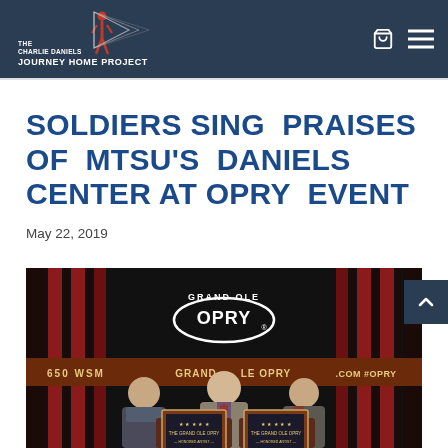THE CHARLIE DANIELS JOURNEY HOME PROJECT
SOLDIERS SING PRAISES OF MTSU'S DANIELS CENTER AT OPRY EVENT
May 22, 2019
[Figure (photo): Three men standing in front of the Grand Ole Opry stage backdrop (650 WSM Grand Ole Opry), holding framed awards/plaques. Two framed items on a podium in front of them.]